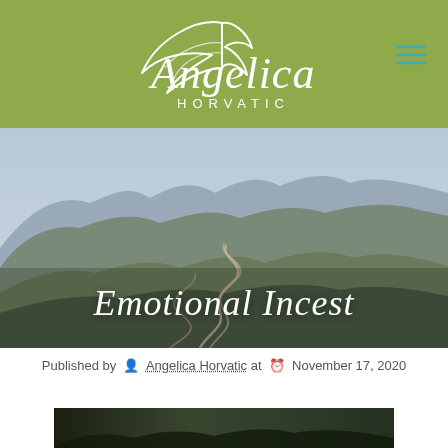[Figure (logo): Angelica Horvatic logo with wing icon and script/sans-serif text on olive green header background]
[Figure (photo): Aerial mountain landscape with winding roads photographed from above showing rugged terrain with haze]
Emotional Incest
Published by Angelica Horvatic at November 17, 2020
[Figure (photo): Partial bottom image strip showing dark landscape or portrait photo]